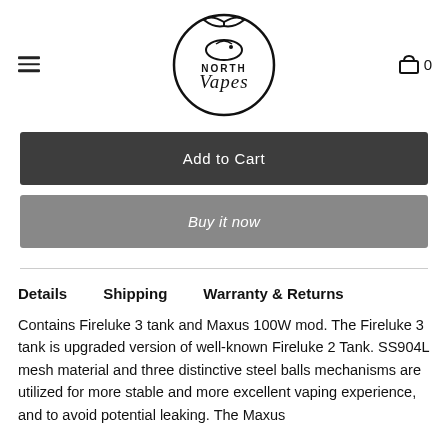North Vapes logo, hamburger menu, cart icon with 0
[Figure (logo): North Vapes circular logo with stylized fish and text]
Add to Cart
Buy it now
Details   Shipping   Warranty & Returns
Contains Fireluke 3 tank and Maxus 100W mod. The Fireluke 3 tank is upgraded version of well-known Fireluke 2 Tank. SS904L mesh material and three distinctive steel balls mechanisms are utilized for more stable and more excellent vaping experience, and to avoid potential leaking. The Maxus